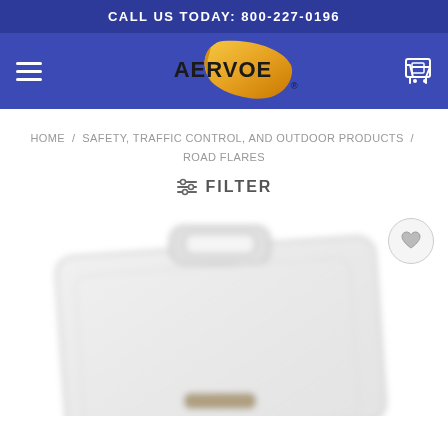CALL US TODAY: 800-227-0196
[Figure (logo): Aervoe logo: golden feather/leaf shape with AERVOE text in black, on dark blue background with hamburger menu and cart icon]
HOME / SAFETY, TRAFFIC CONTROL, AND OUTDOOR PRODUCTS / ROAD FLARES
≡ FILTER
[Figure (photo): A clear/translucent plastic hard case with handle, slightly blurred, product image for road flares category page]